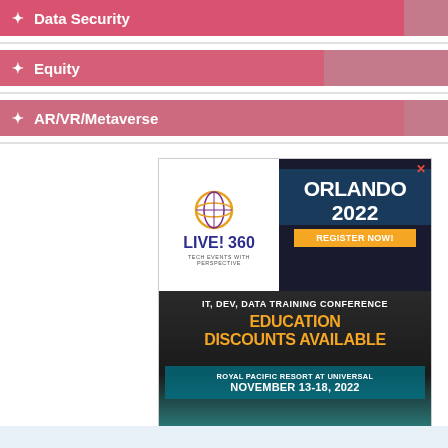Data Security
Equity
AR/VR/Metaverse
[Figure (illustration): Live! 360 conference advertisement for Orlando 2022 IT Dev Data Training Conference at Royal Pacific Resort at Universal, November 13-18 2022, with education discounts available and a register now button.]